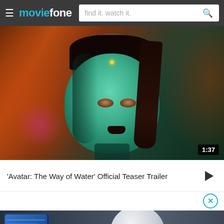moviefone — find it. watch it.
[Figure (screenshot): Video thumbnail from Avatar: The Way of Water showing a blue/green Na'vi female character with dark braided hair, orange/warm background lighting. Duration badge showing 1:37 in bottom right corner.]
'Avatar: The Way of Water' Official Teaser Trailer
[Figure (screenshot): Bottom portion of a movie-related screenshot showing a white rounded robot/Baymax-like figure with a red eye, against a dark blue-grey background with a tablet/screen visible on the left side.]